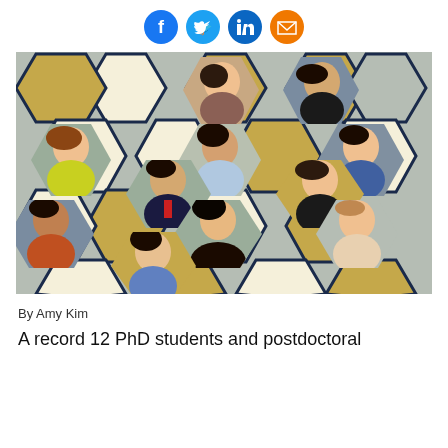[Figure (illustration): Social media share icons: Facebook (blue), Twitter (blue), LinkedIn (blue), Email (orange)]
[Figure (photo): Group collage of 12 PhD students and postdoctoral researchers displayed in hexagonal honeycomb frames on a navy, gold, and light grey background]
By Amy Kim
A record 12 PhD students and postdoctoral